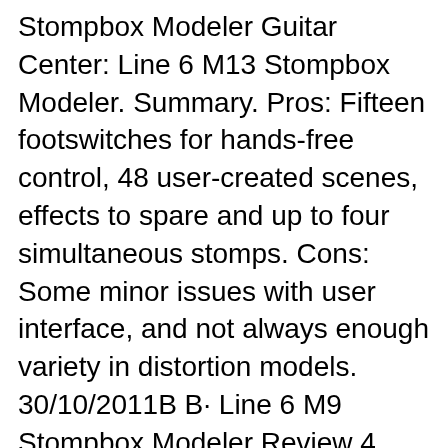Stompbox Modeler Guitar Center: Line 6 M13 Stompbox Modeler. Summary. Pros: Fifteen footswitches for hands-free control, 48 user-created scenes, effects to spare and up to four simultaneous stomps. Cons: Some minor issues with user interface, and not always enough variety in distortion models. 30/10/2011В В· Line 6 M9 Stompbox Modeler Review 4 Admin 2016-03-31 00:01:25 The M13 may be the flagship of Line 6вЂ™s M-series of multi-effects pedals, but that doesnвЂ™t mean you should discount the mid-sized M9. The bigger unit may have twice as many footswitches, but with that extra hands-free capability comes increased size and, more importantly, increased cost.